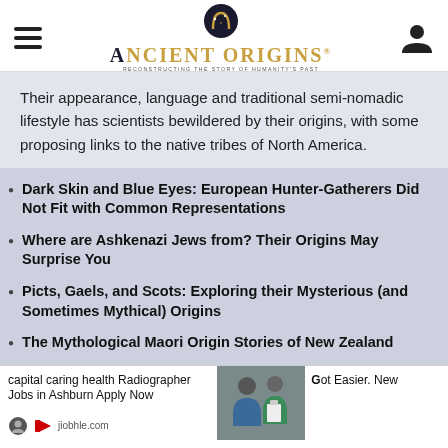Ancient Origins — Reconstructing the story of humanity's past
Their appearance, language and traditional semi-nomadic lifestyle has scientists bewildered by their origins, with some proposing links to the native tribes of North America.
Dark Skin and Blue Eyes: European Hunter-Gatherers Did Not Fit with Common Representations
Where are Ashkenazi Jews from? Their Origins May Surprise You
Picts, Gaels, and Scots: Exploring their Mysterious (and Sometimes Mythical) Origins
The Mythological Maori Origin Stories of New Zealand
capital caring health Radiographer Jobs in Ashburn Apply Now
jiobhle.com
Got Easier. New
ANCIENT TECHNOLOGY